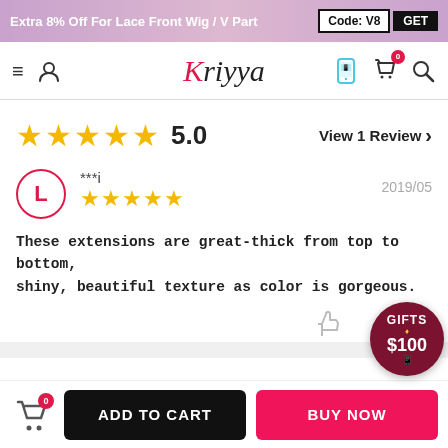Extra 8% Off For Lace Front Wig / V Part   Code: V8   GET
[Figure (screenshot): Kriyya store navigation bar with hamburger menu, user icon, logo, phone icon, cart with badge 0, and search icon]
5.0   View 1 Review
***i   2019/05
These extensions are great-thick from top to bottom, shiny, beautiful texture as color is gorgeous.
GIFTS $100
ADD TO CART   BUY NOW